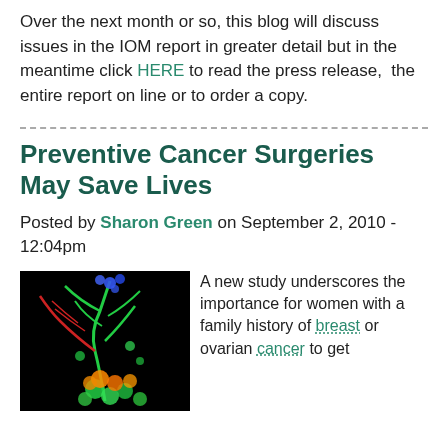Over the next month or so, this blog will discuss issues in the IOM report in greater detail but in the meantime click HERE to read the press release, the entire report on line or to order a copy.
Preventive Cancer Surgeries May Save Lives
Posted by Sharon Green on September 2, 2010 - 12:04pm
[Figure (photo): Colorful fluorescence microscopy image of what appears to be biological cells or structures on a black background, with green, red, orange, and blue colors.]
A new study underscores the importance for women with a family history of breast or ovarian cancer to get